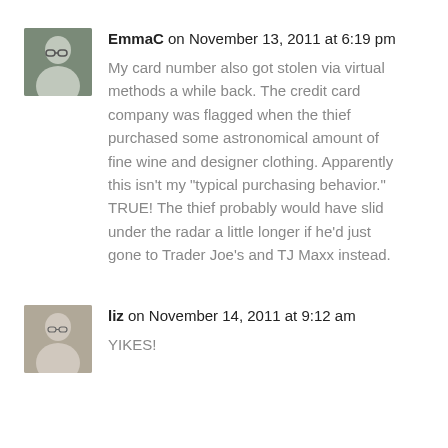[Figure (photo): Avatar photo of EmmaC, a person with glasses]
EmmaC on November 13, 2011 at 6:19 pm
My card number also got stolen via virtual methods a while back. The credit card company was flagged when the thief purchased some astronomical amount of fine wine and designer clothing. Apparently this isn’t my “typical purchasing behavior.” TRUE! The thief probably would have slid under the radar a little longer if he’d just gone to Trader Joe’s and TJ Maxx instead.
[Figure (photo): Avatar photo of liz, a person]
liz on November 14, 2011 at 9:12 am
YIKES!